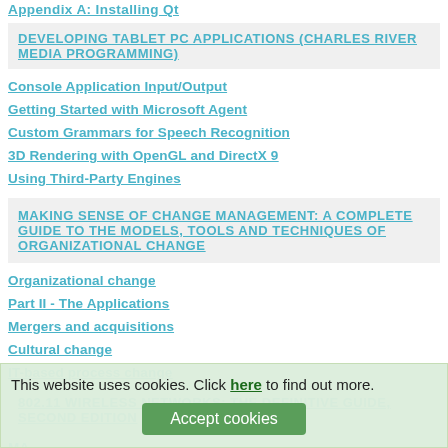Appendix A: Installing Qt
DEVELOPING TABLET PC APPLICATIONS (CHARLES RIVER MEDIA PROGRAMMING)
Console Application Input/Output
Getting Started with Microsoft Agent
Custom Grammars for Speech Recognition
3D Rendering with OpenGL and DirectX 9
Using Third-Party Engines
MAKING SENSE OF CHANGE MANAGEMENT: A COMPLETE GUIDE TO THE MODELS, TOOLS AND TECHNIQUES OF ORGANIZATIONAL CHANGE
Organizational change
Part II - The Applications
Mergers and acquisitions
Cultural change
IT-based process change
802.11 WIRELESS NETWORKS: THE DEFINITIVE GUIDE, SECOND EDITION
MA...
Preauthentication
This website uses cookies. Click here to find out more.